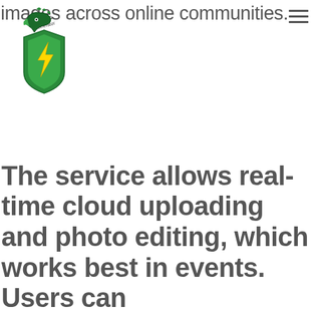images across online communities.
[Figure (logo): APT 5G Accelerator logo — green eagle head with shield and lightning bolt design]
The service allows real-time cloud uploading and photo editing, which works best in events. Users can